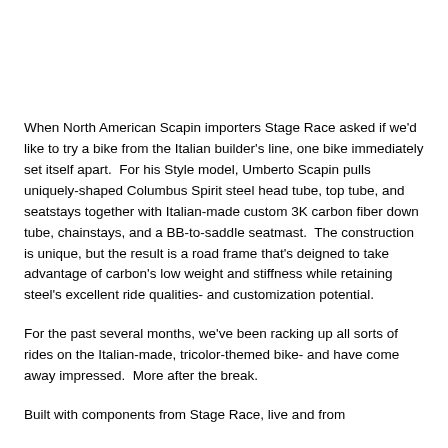When North American Scapin importers Stage Race asked if we'd like to try a bike from the Italian builder's line, one bike immediately set itself apart.  For his Style model, Umberto Scapin pulls uniquely-shaped Columbus Spirit steel head tube, top tube, and seatstays together with Italian-made custom 3K carbon fiber down tube, chainstays, and a BB-to-saddle seatmast.  The construction is unique, but the result is a road frame that's deigned to take advantage of carbon's low weight and stiffness while retaining steel's excellent ride qualities- and customization potential.
For the past several months, we've been racking up all sorts of rides on the Italian-made, tricolor-themed bike- and have come away impressed.  More after the break.
Built with components from Stage Race, live and from